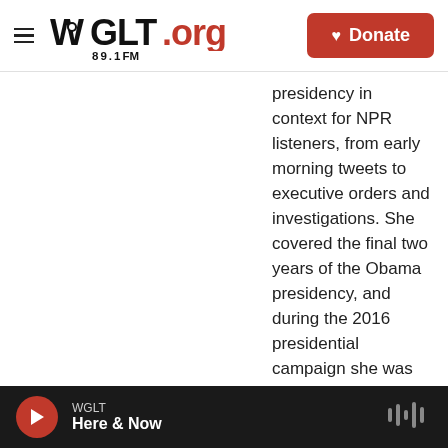WGLT.org 89.1FM | Donate
presidency in context for NPR listeners, from early morning tweets to executive orders and investigations. She covered the final two years of the Obama presidency, and during the 2016 presidential campaign she was assigned to cover Hillary Clinton. In 2018, Keith was elected to serve on the board of the White House Correspondents' Association.
See stories by Tamara Keith
[Figure (photo): Portrait photo of Noel King with tan/gold background, woman with brown hair]
Noel King
WGLT | Here & Now